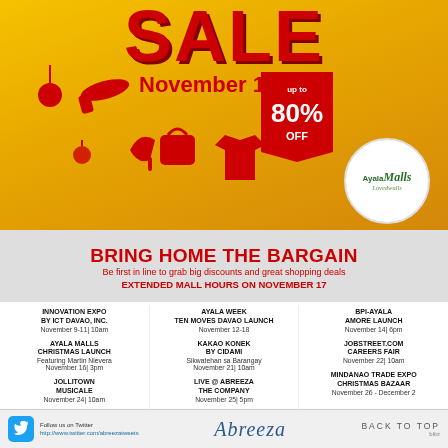SALE
November 12-18
up to 80% OFF
[Figure (logo): Ayala Malls logo in white circle]
BRING HOME THE BARGAIN
Be first in line to grab big discounts and great shopping deals
EXTENDED MALL HOURS on November 17
INNOVATION EXPO BY ICT DAVAO, INC. November 9-11 | 10am
AYALA WEEK TEN MOVES DAVAO LAUNCH November 12-18
BPI-AYALA AMORE LAUNCH November 14 | 6pm
AYALA MALLS CHRISTMAS LAUNCH Featuring Martin Nievera November 16 | 3pm
KAKAO KONEK BY CIDAMi Sikwatehan sa Barangay November 21 | 10am
JOBSTREET.COM CAREERS FAIR November 22 | 10am
JOLLITOWN MUSICALE November 24 | 10am
LIVE @ ABREEZA THE COMPANY November 25 | 5pm
MINDANAO TRADE EXPO CHRISTMAS BAZAAR November 26 - December 2
[Figure (logo): Abreeza logo]
Follow us on Twitter https://www.twitter.com/abreezatweets
BACK TO TOP